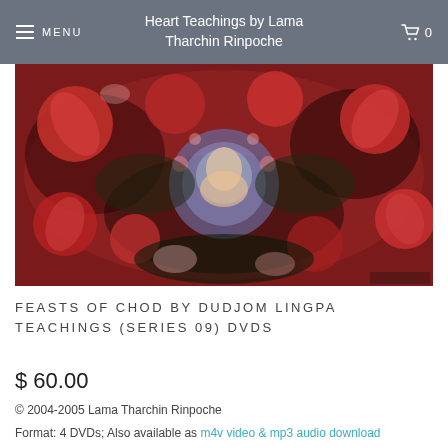Heart Teachings by Lama Tharchin Rinpoche
[Figure (photo): Decorative thangka-style Buddhist artwork with red floral and deity motifs]
FEASTS OF CHOD BY DUDJOM LINGPA TEACHINGS (SERIES 09) DVDS
$ 60.00
© 2004-2005 Lama Tharchin Rinpoche
Format: 4 DVDs; Also available as m4v video & mp3 audio download